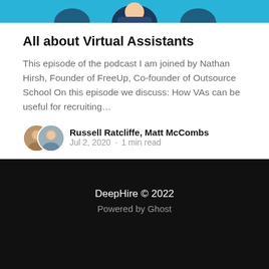[Figure (illustration): Top portion of a podcast thumbnail image showing illustrated figures in blue background, partially cropped]
All about Virtual Assistants
This episode of the podcast I am joined by Nathan Hirsh, Founder of FreeUp, Co-founder of Outsource School On this episode we discuss: How VAs can be useful for recruiting…
Russell Ratcliffe, Matt McCombs
Jul 2, 2020 · 1 min read
DeepHire © 2022
Powered by Ghost